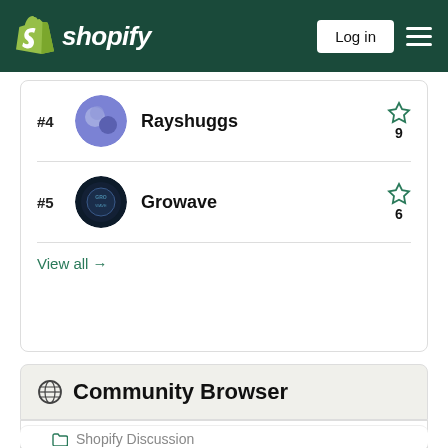Shopify navigation bar with Log in button
#4 Rayshuggs — 9 stars
#5 Growave — 6 stars
View all →
Community Browser
Shopify Community
Shopify Discussion